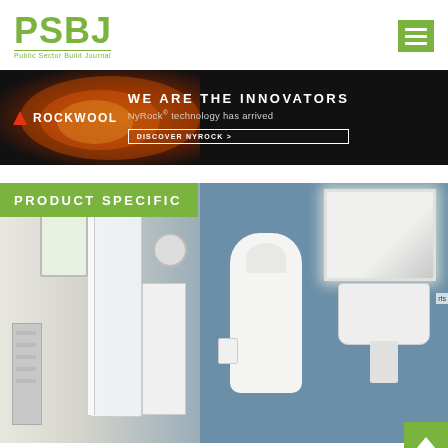PSBJ - Public Sector Build Journal
[Figure (screenshot): ROCKWOOL advertisement banner: black background with fire/flame imagery on left, ROCKWOOL logo with red triangle, text 'WE ARE THE INNOVATORS', 'NyRock® technology has arrived', button 'DISCOVER NYROCK >']
[Figure (photo): Bathroom scene showing an accessible walk-in shower unit with white panels and curtain, electric shower unit on wall, white bathrobe hanging on wall hook, blue/grey painted walls, illuminated mirror cabinet, pedestal sink, towel radiator on left side]
PRODUCT SPECIFIC